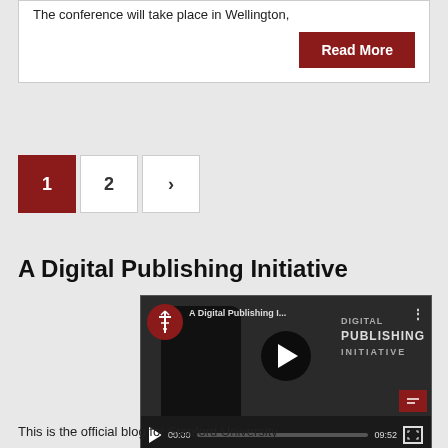The conference will take place in Wellington,
[Figure (screenshot): Read More button in dark red/maroon color]
[Figure (infographic): Pagination buttons: 1 (active, dark red), 2, and next arrow]
A Digital Publishing Initiative
[Figure (screenshot): Embedded video player showing 'A Digital Publishing I...' with Stanford logo, person silhouette, play button, time 00:00 / 09:52, and fullscreen button]
This is the official blog for Stanford University